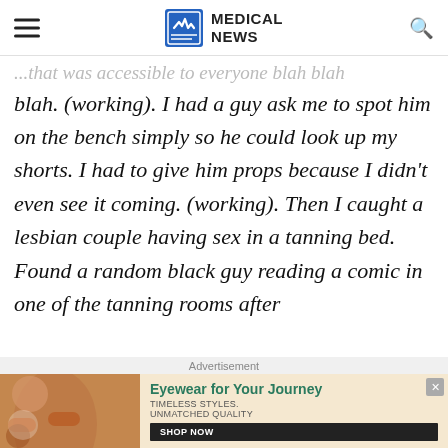MEDICAL NEWS
...that was accessible to everyone blah blah blah. (working). I had a guy ask me to spot him on the bench simply so he could look up my shorts. I had to give him props because I didn't even see it coming. (working). Then I caught a lesbian couple having sex in a tanning bed. Found a random black guy reading a comic in one of the tanning rooms after
Advertisement
[Figure (photo): Advertisement banner for eyewear brand featuring two women wearing sunglasses with text 'Eyewear for Your Journey', 'TIMELESS STYLES. UNMATCHED QUALITY', and a 'SHOP NOW' button.]